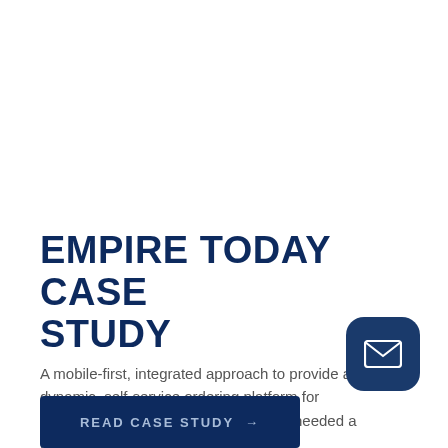EMPIRE TODAY CASE STUDY
A mobile-first, integrated approach to provide a dynamic, self-service ordering platform for commercial customers. Empire Today needed a tool that would help
[Figure (illustration): Dark navy rounded square button with a white envelope/email icon]
READ CASE STUDY →